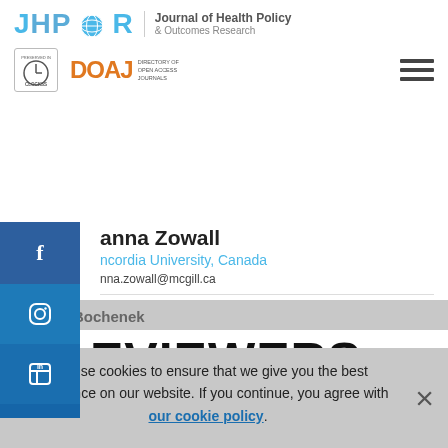[Figure (logo): JHPOR Journal of Health Policy & Outcomes Research logo with globe icon and DOAJ / CLOCKSS badges]
anna Zowall
ncordia University, Canada
nna.zowall@mcgill.ca
EVIEWERS
Tomasz Bochenek
We use cookies to ensure that we give you the best experience on our website. If you continue, you agree with our cookie policy.